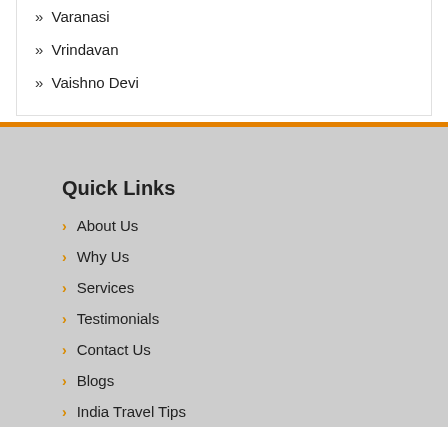» Varanasi
» Vrindavan
» Vaishno Devi
Quick Links
> About Us
> Why Us
> Services
> Testimonials
> Contact Us
> Blogs
> India Travel Tips